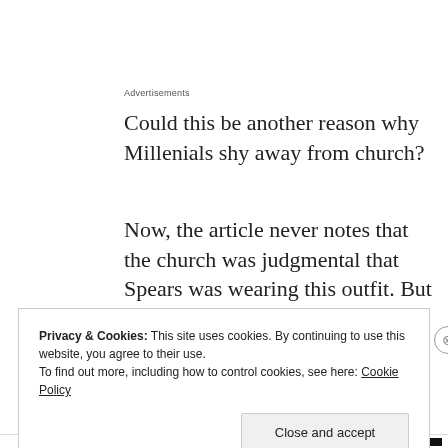Advertisements
Could this be another reason why Millenials shy away from church?
Now, the article never notes that the church was judgmental that Spears was wearing this outfit. But through the
Privacy & Cookies: This site uses cookies. By continuing to use this website, you agree to their use.
To find out more, including how to control cookies, see here: Cookie Policy
Close and accept